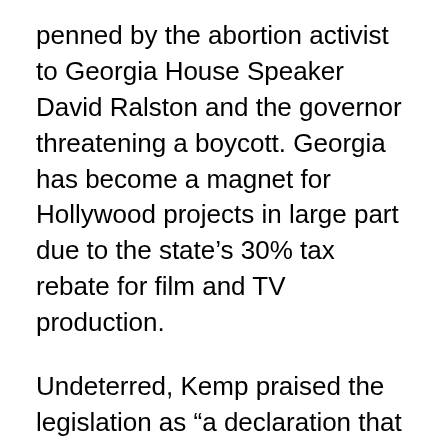penned by the abortion activist to Georgia House Speaker David Ralston and the governor threatening a boycott. Georgia has become a magnet for Hollywood projects in large part due to the state's 30% tax rebate for film and TV production.
Undeterred, Kemp praised the legislation as “a declaration that all life has value, that all life matters, and that all life is worthy of protection.”
“I realize that some may challenge it in a court of law. But our job is to do what is